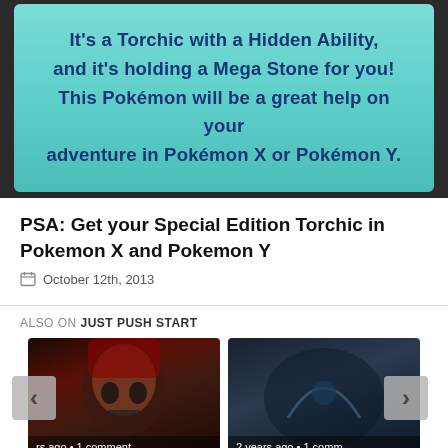[Figure (screenshot): Photo of a Nintendo DS/3DS screen showing a teal/cyan colored dialog box with blue text about a Torchic with a Hidden Ability holding a Mega Stone for Pokemon X or Pokemon Y.]
PSA: Get your Special Edition Torchic in Pokemon X and Pokemon Y
October 12th, 2013
ALSO ON JUST PUSH START
[Figure (screenshot): Thumbnail image of a skull with red bandana on dark background with text 'rs ago • 1 comment']
[Figure (screenshot): Thumbnail image of a dark fantasy/game scene with text '2 years ago • 1 comm...']